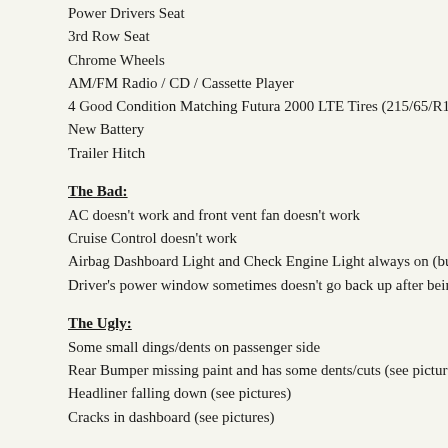Power Drivers Seat
3rd Row Seat
Chrome Wheels
AM/FM Radio / CD / Cassette Player
4 Good Condition Matching Futura 2000 LTE Tires (215/65/R16)
New Battery
Trailer Hitch
The Bad:
AC doesn't work and front vent fan doesn't work
Cruise Control doesn't work
Airbag Dashboard Light and Check Engine Light always on (but I n
Driver's power window sometimes doesn't go back up after being ro
The Ugly:
Some small dings/dents on passenger side
Rear Bumper missing paint and has some dents/cuts (see pictures)
Headliner falling down (see pictures)
Cracks in dashboard (see pictures)